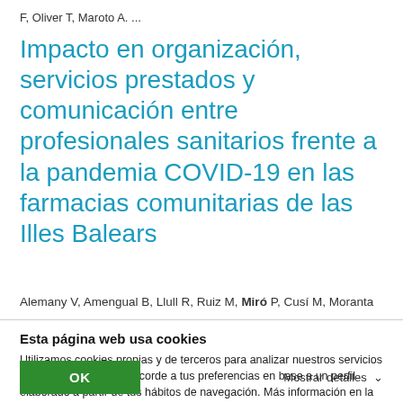F, Oliver T, Maroto A. ...
Impacto en organización, servicios prestados y comunicación entre profesionales sanitarios frente a la pandemia COVID-19 en las farmacias comunitarias de las Illes Balears
Alemany V, Amengual B, Llull R, Ruiz M, Miró P, Cusí M, Moranta
Esta página web usa cookies
Utilizamos cookies propias y de terceros para analizar nuestros servicios y mostrarte publicidad acorde a tus preferencias en base a un perfil elaborado a partir de tus hábitos de navegación. Más información en la Política de Cookies
OK
Mostrar detalles